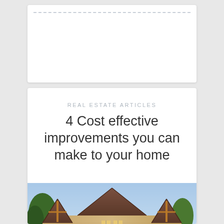[Figure (other): Empty white card with dashed top border line]
REAL ESTATE ARTICLES
4 Cost effective improvements you can make to your home
[Figure (photo): Exterior photo of a large craftsman-style stone and brick house with multiple gabled rooflines, wood beam accents, and illuminated windows at dusk with trees visible]